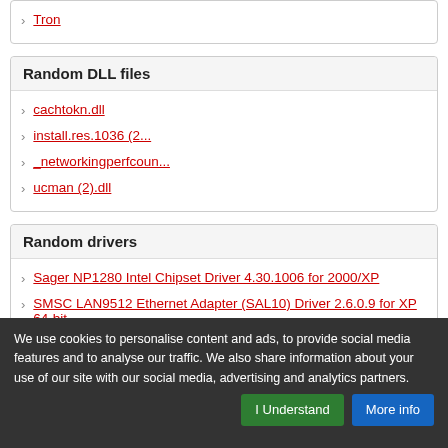Tron
Random DLL files
cachtokn.dll
install.res.1036 (2...
_networkingperfcoun...
ucman (2).dll
Random drivers
Sager NP1280 Intel Chipset Driver 4.30.1006 for 2000/XP
SMSC LAN9512 Ethernet Adapter (SAL10) Driver 2.6.0.9 for XP 64-bit
Epson Stylus Pro 9880 ColorBurst Printer Driver 6.12 for Mac OS
We use cookies to personalise content and ads, to provide social media features and to analyse our traffic. We also share information about your use of our site with our social media, advertising and analytics partners.